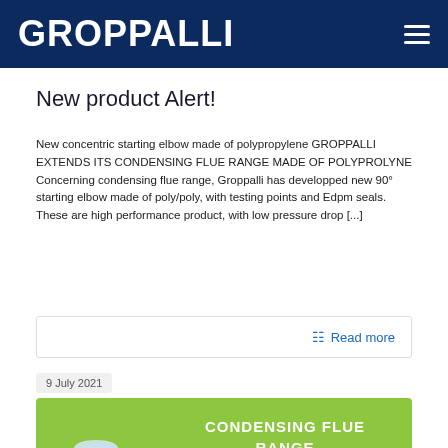GROPPALLI
New product Alert!
New concentric starting elbow made of polypropylene GROPPALLI EXTENDS ITS CONDENSING FLUE RANGE MADE OF POLYPROLYNE Concerning condensing flue range, Groppalli has developped new 90° starting elbow made of poly/poly, with testing points and Edpm seals. These are high performance product, with low pressure drop [...]
Read more
9 July 2021
[Figure (illustration): Green banner with white bold text reading 'CONDENSING FLUE RANGE Ø80/110' and a partial image of a polypropylene duct fitting in the lower left corner]